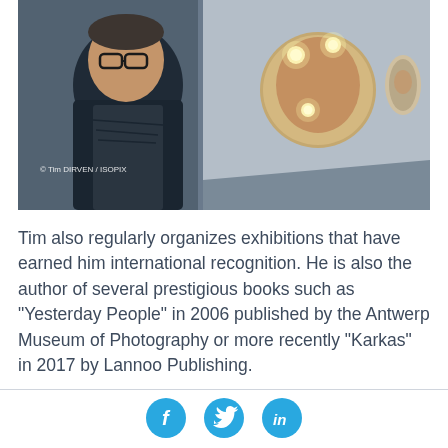[Figure (photo): A man with glasses and a dark scarf/coat stands in front of an art gallery wall. In the center-right is a circular artwork showing a face with light bulbs. A smaller oval artwork hangs on the right wall. The photo is credited to Tim DIRVEN / ISOPIX.]
© Tim DIRVEN / ISOPIX
Tim also regularly organizes exhibitions that have earned him international recognition. He is also the author of several prestigious books such as "Yesterday People" in 2006 published by the Antwerp Museum of Photography or more recently "Karkas" in 2017 by Lannoo Publishing.
[Figure (infographic): Three circular social media icons: Facebook (f), Twitter (bird icon), LinkedIn (in), all in cyan/blue color]